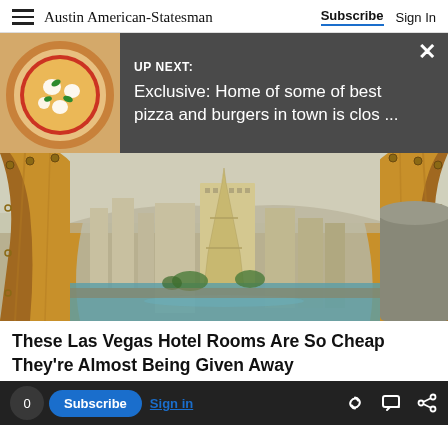Austin American-Statesman  Subscribe  Sign In
UP NEXT: Exclusive: Home of some of best pizza and burgers in town is clos ...
[Figure (photo): View of Las Vegas Strip with Paris Las Vegas Hotel (Eiffel Tower replica) and other casino hotels, seen through warm golden curtains from a hotel room window]
These Las Vegas Hotel Rooms Are So Cheap They're Almost Being Given Away
0  Subscribe  Sign in